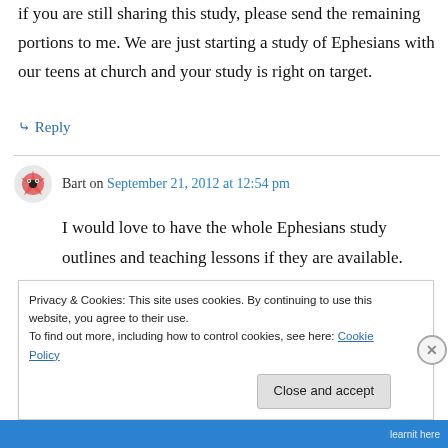if you are still sharing this study, please send the remaining portions to me. We are just starting a study of Ephesians with our teens at church and your study is right on target.
↳ Reply
Bart on September 21, 2012 at 12:54 pm
I would love to have the whole Ephesians study outlines and teaching lessons if they are available. thanks!
Privacy & Cookies: This site uses cookies. By continuing to use this website, you agree to their use.
To find out more, including how to control cookies, see here: Cookie Policy